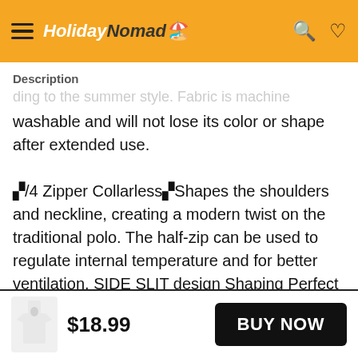HolidayNomad
Description
washable and will not lose its color or shape after extended use.
▞/4 Zipper Collarless▞Shapes the shoulders and neckline, creating a modern twist on the traditional polo. The half-zip can be used to regulate internal temperature and for better ventilation. SIDE SLIT design Shaping Perfect Proportions.
$18.99
BUY NOW